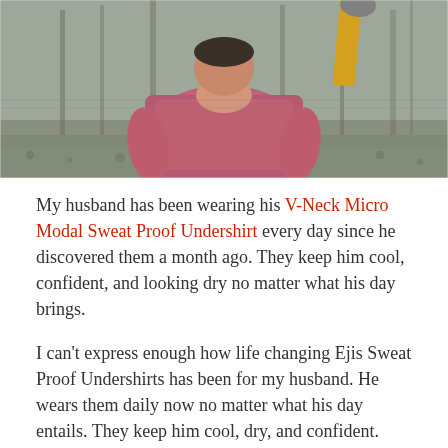[Figure (photo): A man seen from behind wearing a pink/mauve t-shirt, standing outdoors in a wooded area. Someone next to him is holding a yellow-handled axe or tool. Bare trees and ground foliage visible in the background.]
My husband has been wearing his V-Neck Micro Modal Sweat Proof Undershirt every day since he discovered them a month ago. They keep him cool, confident, and looking dry no matter what his day brings.
I can't express enough how life changing Ejis Sweat Proof Undershirts has been for my husband. He wears them daily now no matter what his day entails. They keep him cool, dry, and confident. Plus, I'm glad that I